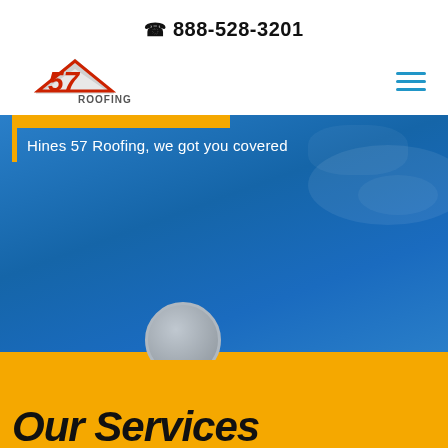888-528-3201
[Figure (logo): 57 Roofing logo with stylized roof and number 57]
Hines 57 Roofing, we got you covered
VIEW OUR WORK
[Figure (photo): Blue sky background with clouds and partial circular element]
Our Services